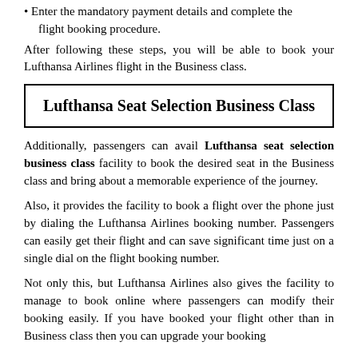Enter the mandatory payment details and complete the flight booking procedure.
After following these steps, you will be able to book your Lufthansa Airlines flight in the Business class.
Lufthansa Seat Selection Business Class
Additionally, passengers can avail Lufthansa seat selection business class facility to book the desired seat in the Business class and bring about a memorable experience of the journey.
Also, it provides the facility to book a flight over the phone just by dialing the Lufthansa Airlines booking number. Passengers can easily get their flight and can save significant time just on a single dial on the flight booking number.
Not only this, but Lufthansa Airlines also gives the facility to manage to book online where passengers can modify their booking easily. If you have booked your flight other than in Business class then you can upgrade your booking